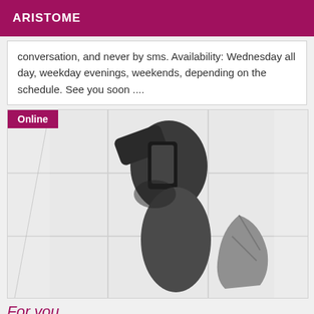ARISTOME
conversation, and never by sms. Availability: Wednesday all day, weekday evenings, weekends, depending on the schedule. See you soon ....
[Figure (photo): Black and white mirror selfie photo with Online badge in top left corner]
For you